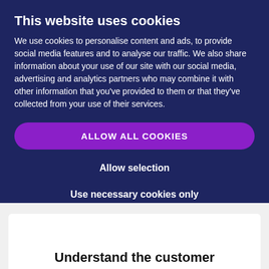This website uses cookies
We use cookies to personalise content and ads, to provide social media features and to analyse our traffic. We also share information about your use of our site with our social media, advertising and analytics partners who may combine it with other information that you've provided to them or that they've collected from your use of their services.
ALLOW ALL COOKIES
Allow selection
Use necessary cookies only
Necessary  Preferences  Statistics  Marketing  Show details
Understand the customer